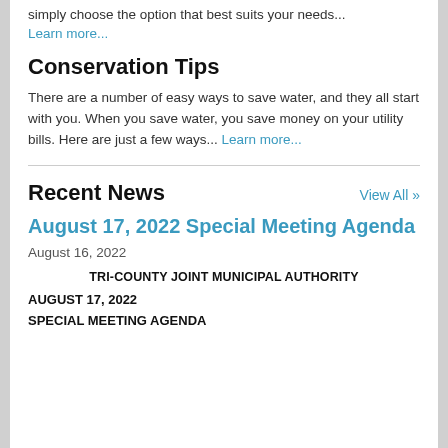simply choose the option that best suits your needs... Learn more...
Conservation Tips
There are a number of easy ways to save water, and they all start with you. When you save water, you save money on your utility bills. Here are just a few ways... Learn more...
Recent News
View All »
August 17, 2022 Special Meeting Agenda
August 16, 2022
TRI-COUNTY JOINT MUNICIPAL AUTHORITY
AUGUST 17, 2022
SPECIAL MEETING AGENDA